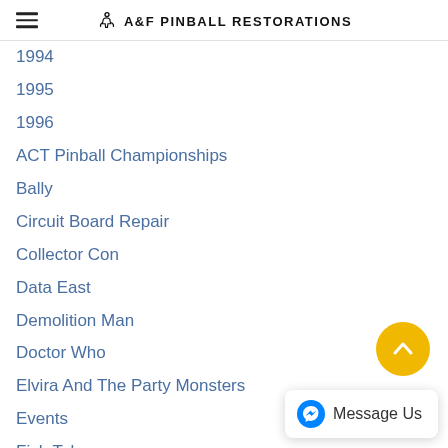A&F PINBALL RESTORATIONS
1994
1995
1996
ACT Pinball Championships
Bally
Circuit Board Repair
Collector Con
Data East
Demolition Man
Doctor Who
Elvira And The Party Monsters
Events
Fish Tales
Frankenstein
General
Getaway
Gottlieb
Guns N Roses